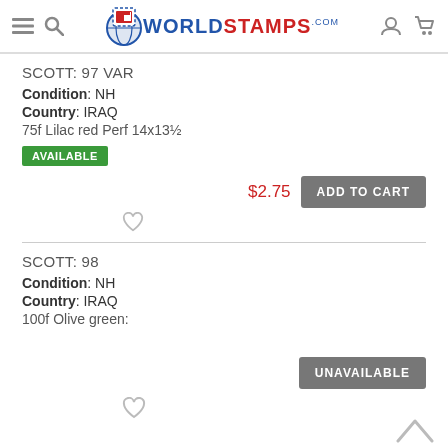WorldStamps.com
SCOTT: 97 VAR
Condition: NH
Country: IRAQ
75f Lilac red Perf 14x13½
AVAILABLE
$2.75
ADD TO CART
SCOTT: 98
Condition: NH
Country: IRAQ
100f Olive green:
UNAVAILABLE